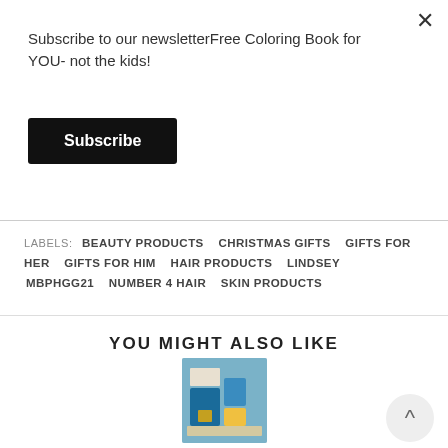×
Subscribe to our newsletterFree Coloring Book for YOU- not the kids!
Subscribe
LABELS: BEAUTY PRODUCTS  CHRISTMAS GIFTS  GIFTS FOR HER  GIFTS FOR HIM  HAIR PRODUCTS  LINDSEY  MBPHGG21  NUMBER 4 HAIR  SKIN PRODUCTS
YOU MIGHT ALSO LIKE
[Figure (photo): Product photo showing beauty/skincare products in teal/blue packaging]
Look And Feel Your Best This Summer With These Amazing Products